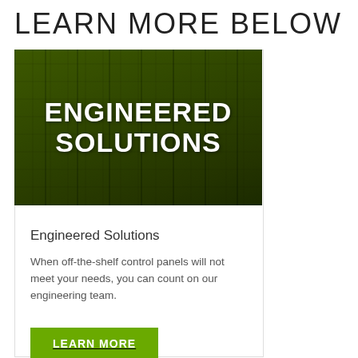LEARN MORE BELOW
[Figure (photo): Industrial electrical control panels/cabinets with green color overlay and bold white text 'ENGINEERED SOLUTIONS' overlaid on the image]
Engineered Solutions
When off-the-shelf control panels will not meet your needs, you can count on our engineering team.
LEARN MORE